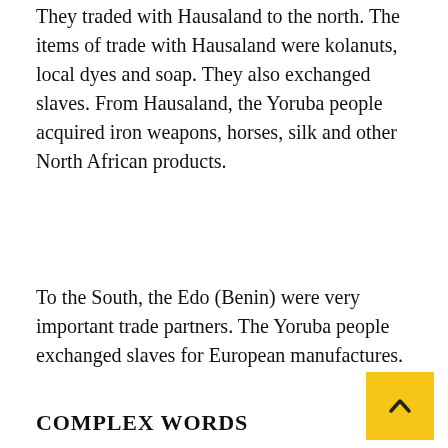They traded with Hausaland to the north. The items of trade with Hausaland were kolanuts, local dyes and soap. They also exchanged slaves. From Hausaland, the Yoruba people acquired iron weapons, horses, silk and other North African products.
To the South, the Edo (Benin) were very important trade partners. The Yoruba people exchanged slaves for European manufactures.
COMPLEX WORDS